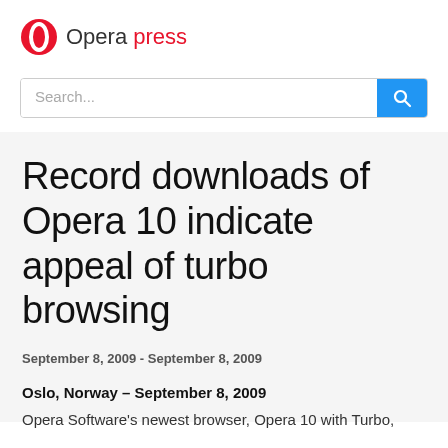[Figure (logo): Opera press logo with red Opera 'O' circle icon and text 'Opera press' where 'press' is in red]
Search...
Record downloads of Opera 10 indicate appeal of turbo browsing
September 8, 2009 - September 8, 2009
Oslo, Norway – September 8, 2009
Opera Software's newest browser, Opera 10 with Turbo,